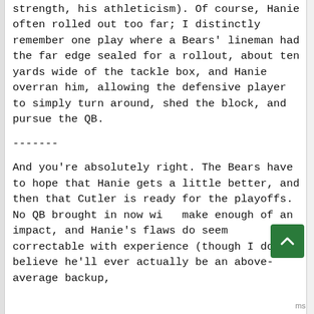strength, his athleticism). Of course, Hanie often rolled out too far; I distinctly remember one play where a Bears' lineman had the far edge sealed for a rollout, about ten yards wide of the tackle box, and Hanie overran him, allowing the defensive player to simply turn around, shed the block, and pursue the QB.
-------
And you're absolutely right. The Bears have to hope that Hanie gets a little better, and then that Cutler is ready for the playoffs. No QB brought in now will make enough of an impact, and Hanie's flaws do seem correctable with experience (though I don't believe he'll ever actually be an above-average backup,